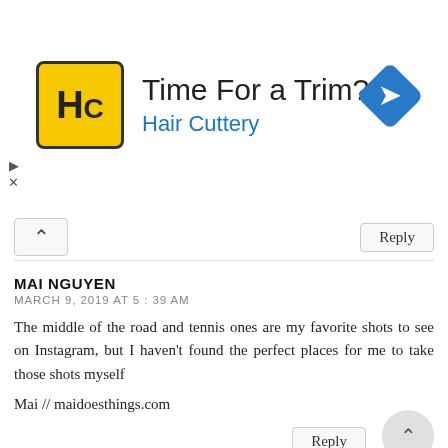[Figure (advertisement): Hair Cuttery advertisement banner with yellow HC logo, headline 'Time For a Trim?', subtitle 'Hair Cuttery', and a blue diamond-shaped arrow icon on the right]
MAI NGUYEN
MARCH 9, 2019 AT 5:39 AM

The middle of the road and tennis ones are my favorite shots to see on Instagram, but I haven't found the perfect places for me to take those shots myself

Mai // maidoesthings.com
EMMYLOU
MARCH 9, 2019 AT 6:04 AM

These are great locations and love your outfits, esp. the one in the middle of the road:) That is one location I really wanna try photographing.